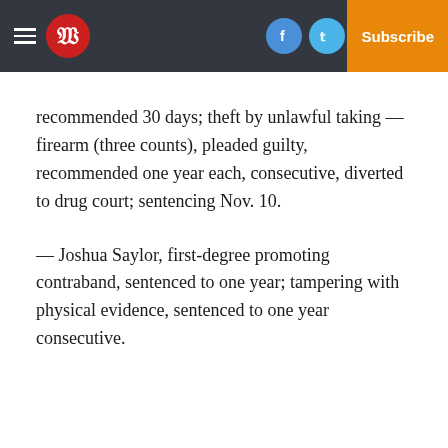W [newspaper logo header with social icons, Log In, Subscribe]
recommended 30 days; theft by unlawful taking — firearm (three counts), pleaded guilty, recommended one year each, consecutive, diverted to drug court; sentencing Nov. 10.
— Joshua Saylor, first-degree promoting contraband, sentenced to one year; tampering with physical evidence, sentenced to one year consecutive.